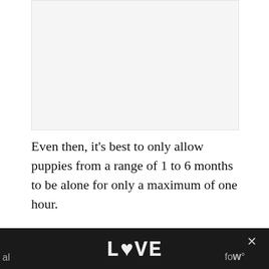[Figure (other): Placeholder image area, light gray background]
Even then, it’s best to only allow puppies from a range of 1 to 6 months to be alone for only a maximum of one hour.
Other Things to Keep in Mind
Shiba are not only a quiet breed but can bark to guard when necessary, as their loyalty and
[Figure (illustration): LOVE stylized text logo advertisement on dark background with close button and partial text on sides]